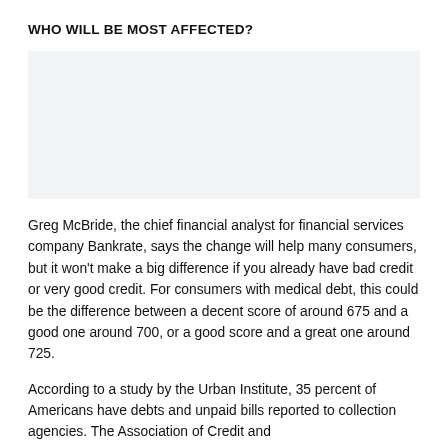WHO WILL BE MOST AFFECTED?
[Figure (other): Light gray rectangular image placeholder area]
Greg McBride, the chief financial analyst for financial services company Bankrate, says the change will help many consumers, but it won't make a big difference if you already have bad credit or very good credit. For consumers with medical debt, this could be the difference between a decent score of around 675 and a good one around 700, or a good score and a great one around 725.
According to a study by the Urban Institute, 35 percent of Americans have debts and unpaid bills reported to collection agencies. The Association of Credit and